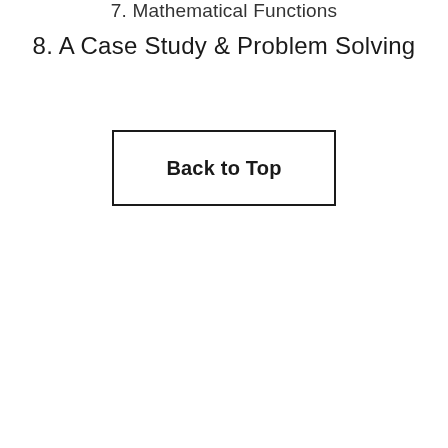7. Mathematical Functions
8. A Case Study & Problem Solving
Back to Top